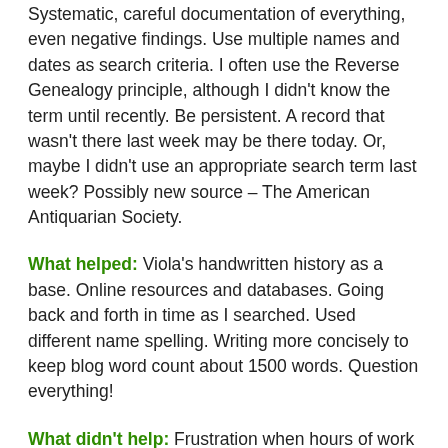Systematic, careful documentation of everything, even negative findings.  Use multiple names and dates as search criteria. I often use the Reverse Genealogy principle, although I didn't know the term until recently.  Be persistent.  A record that wasn't there last week may be there today. Or, maybe I didn't use an appropriate search term last week?  Possibly  new source – The American Antiquarian Society.
What helped:  Viola's handwritten history as a base. Online resources and databases. Going back and forth in time as I searched.  Used different name spelling.  Writing more concisely to keep blog word count about 1500 words.  Question everything!
What didn't help:  Frustration when hours of work turned up nothing. I was ready to give up more than